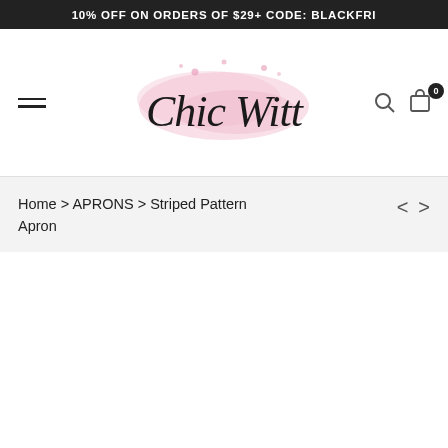10% OFF ON ORDERS OF $29+ CODE: BLACKFRI
[Figure (logo): Chic Witt brand logo with pink watercolor brush stroke background and script font text]
Home > APRONS > Striped Pattern Apron